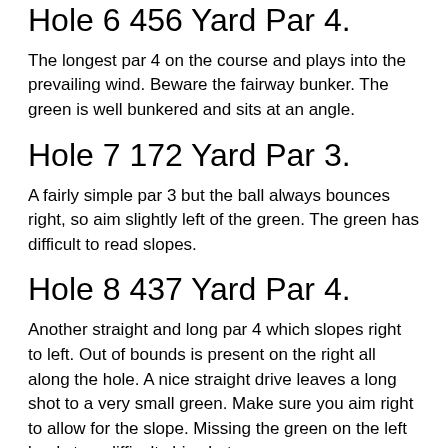Hole 6 456 Yard Par 4.
The longest par 4 on the course and plays into the prevailing wind. Beware the fairway bunker. The green is well bunkered and sits at an angle.
Hole 7 172 Yard Par 3.
A fairly simple par 3 but the ball always bounces right, so aim slightly left of the green. The green has difficult to read slopes.
Hole 8 437 Yard Par 4.
Another straight and long par 4 which slopes right to left. Out of bounds is present on the right all along the hole. A nice straight drive leaves a long shot to a very small green. Make sure you aim right to allow for the slope. Missing the green on the left leads to a difficult chip shot.
Hole 9 482 Yard Par 5.